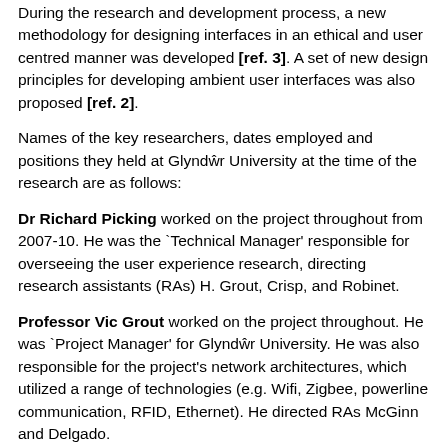During the research and development process, a new methodology for designing interfaces in an ethical and user centred manner was developed [ref. 3]. A set of new design principles for developing ambient user interfaces was also proposed [ref. 2].
Names of the key researchers, dates employed and positions they held at Glyndŵr University at the time of the research are as follows:
Dr Richard Picking worked on the project throughout from 2007-10. He was the `Technical Manager' responsible for overseeing the user experience research, directing research assistants (RAs) H. Grout, Crisp, and Robinet.
Professor Vic Grout worked on the project throughout. He was `Project Manager' for Glyndŵr University. He was also responsible for the project's network architectures, which utilized a range of technologies (e.g. Wifi, Zigbee, powerline communication, RFID, Ethernet). He directed RAs McGinn and Delgado.
Alexia Robinet (RA) worked on the project throughout. She developed user interfaces and conducted user studies in Glyndŵr University's usability laboratory.